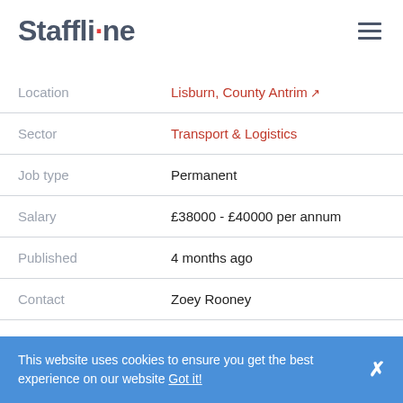Staffline
| Field | Value |
| --- | --- |
| Location | Lisburn, County Antrim |
| Sector | Transport & Logistics |
| Job type | Permanent |
| Salary | £38000 - £40000 per annum |
| Published | 4 months ago |
| Contact | Zoey Rooney |
This website uses cookies to ensure you get the best experience on our website Got it!